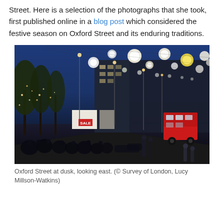Street. Here is a selection of the photographs that she took, first published online in a blog post which considered the festive season on Oxford Street and its enduring traditions.
[Figure (photo): Oxford Street at dusk looking east, showing Christmas lights (glowing orbs) strung across the street, trees on the left, shopfronts, crowds of people on the pavement, and a red double-decker bus on the right.]
Oxford Street at dusk, looking east. (© Survey of London, Lucy Millson-Watkins)